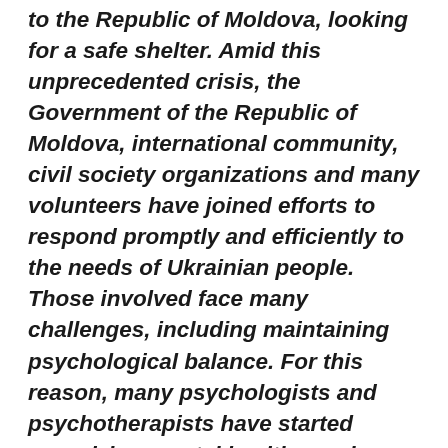to the Republic of Moldova, looking for a safe shelter. Amid this unprecedented crisis, the Government of the Republic of Moldova, international community, civil society organizations and many volunteers have joined efforts to respond promptly and efficiently to the needs of Ukrainian people. Those involved face many challenges, including maintaining psychological balance. For this reason, many psychologists and psychotherapists have started organizing mental health sessions. One of these specialists is Elena Biceva, President of the Moldovan Association of Gestalt Therapy and Psychodrama, who organizes mental health